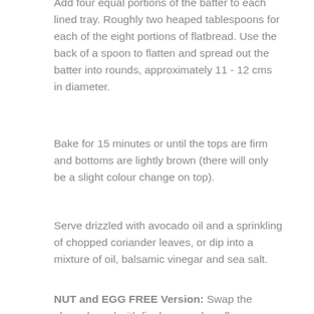Add four equal portions of the batter to each lined tray. Roughly two heaped tablespoons for each of the eight portions of flatbread. Use the back of a spoon to flatten and spread out the batter into rounds, approximately 11 - 12 cms in diameter.
Bake for 15 minutes or until the tops are firm and bottoms are lightly brown (there will only be a slight colour change on top).
Serve drizzled with avocado oil and a sprinkling of chopped coriander leaves, or dip into a mixture of oil, balsamic vinegar and sea salt.
NUT and EGG FREE Version: Swap the almond meal with finely ground sunflower